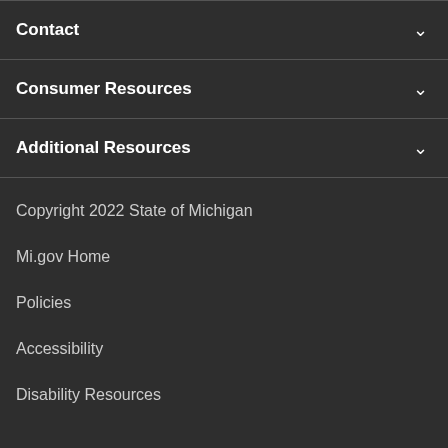Contact
Consumer Resources
Additional Resources
Copyright 2022 State of Michigan
Mi.gov Home
Policies
Accessibility
Disability Resources